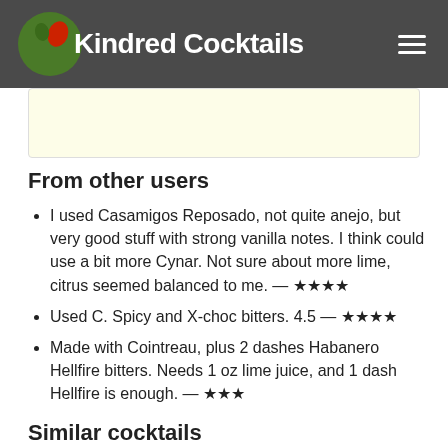Kindred Cocktails
From other users
I used Casamigos Reposado, not quite anejo, but very good stuff with strong vanilla notes. I think could use a bit more Cynar. Not sure about more lime, citrus seemed balanced to me. — ★★★★
Used C. Spicy and X-choc bitters. 4.5 — ★★★★
Made with Cointreau, plus 2 dashes Habanero Hellfire bitters. Needs 1 oz lime juice, and 1 dash Hellfire is enough. — ★★★
Similar cocktails
Beauregarde's Breakfast — Bourbon, Amaro Montenegro, Bitters, Lemon juice, Blueberry preserves, Lemon peel
Missouri Mule — Bourbon, Applejack, Campari, Triple sec, Lemon juice
El Compadre — Bourbon, Aperol, Citrus Bitters,